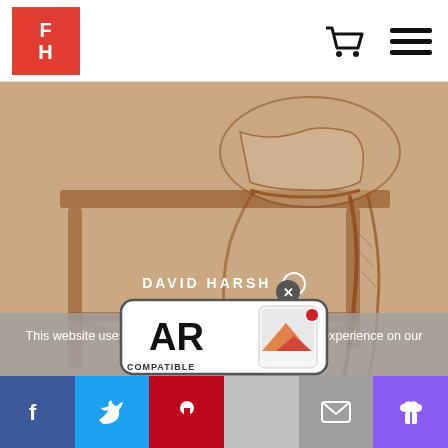[Figure (logo): Red square logo with white letters F and H stacked]
[Figure (illustration): Red-brown pencil sketch of a person seated on a wooden bench, showing legs and bare feet, drawn on tan/beige paper]
This website uses cookies to ensure you get the best experience on our website.
DAVID HARSH
[Figure (logo): AR Compatible badge with mountain/phone icon]
Facebook | Twitter | Pinterest | (gray) | Mail | Gift